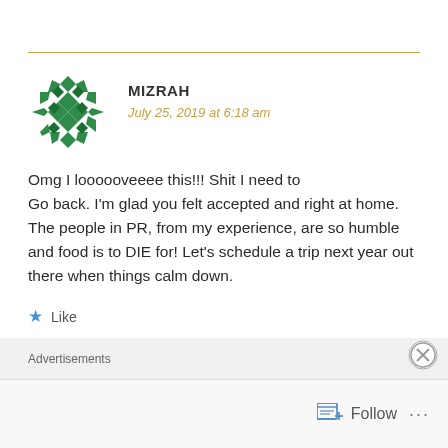[Figure (illustration): Decorative green geometric/quilt pattern avatar icon for user Mizrah]
MIZRAH
July 25, 2019 at 6:18 am
Omg I loooooveeee this!!! Shit I need to Go back. I'm glad you felt accepted and right at home. The people in PR, from my experience, are so humble and food is to DIE for! Let's schedule a trip next year out there when things calm down.
Like
REPLY
Advertisements